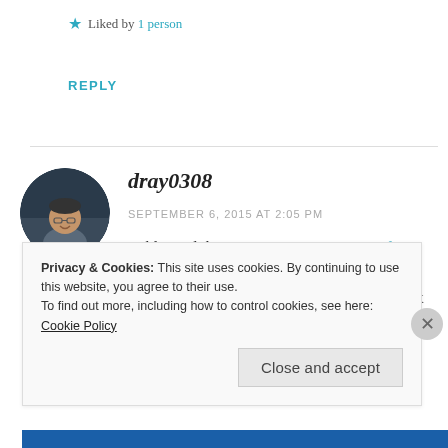★ Liked by 1 person
REPLY
[Figure (photo): Circular avatar photo of a man with glasses, smiling, dark background]
dray0308
SEPTEMBER 6, 2015 AT 2:05 PM
Reblogged this on Dream Big, Dream Often and commented:
FreeByrd is hosting a Mix and Mingle! Check it
Privacy & Cookies: This site uses cookies. By continuing to use this website, you agree to their use.
To find out more, including how to control cookies, see here: Cookie Policy
Close and accept